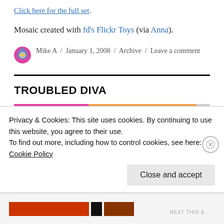Click here for the full set.
Mosaic created with fd's Flickr Toys (via Anna).
Mike A / January 1, 2008 / Archive / Leave a comment
TROUBLED DIVA
[Figure (photo): Partial image strip showing pink and orange colored sections, partially obscured by cookie consent banner]
Privacy & Cookies: This site uses cookies. By continuing to use this website, you agree to their use.
To find out more, including how to control cookies, see here:
Cookie Policy
Close and accept